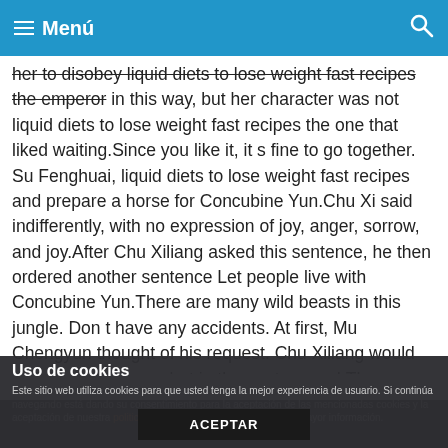Menú
her to disobey liquid diets to lose weight fast recipes the emperor in this way, but her character was not liquid diets to lose weight fast recipes the one that liked waiting.Since you like it, it s fine to go together. Su Fenghuai, liquid diets to lose weight fast recipes and prepare a horse for Concubine Yun.Chu Xi said indifferently, with no expression of joy, anger, sorrow, and joy.After Chu Xiliang asked this sentence, he then ordered another sentence Let people live with Concubine Yun.There are many wild beasts in this jungle. Don t have any accidents. At first, Mu Chengyun thought of his request. Chu Xiliang would definitely not agree, but in the next second.There was a turning point in her destiny. She looked at Chu Xiliang in disbelief, and heard that he not only agreed, but even made people protect herself.A look of surprise flashed across her face, and sure enough, she was right.Bu
Uso de cookies
Este sitio web utiliza cookies para que usted tenga la mejor experiencia de usuario. Si continúa navegando está dando su consentimiento para la aceptación de las mencionadas cookies y la aceptación de nuestra politica de cookies, pinche el enlace para mayor información.
ACEPTAR